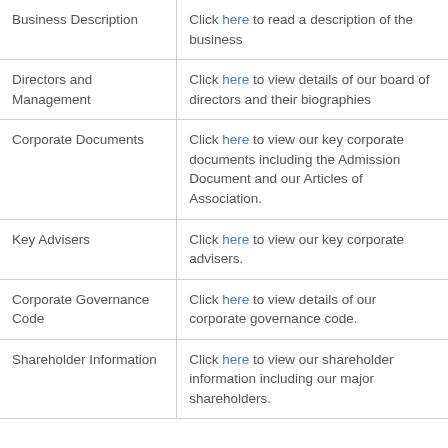|  |  |
| --- | --- |
| Business Description | Click here to read a description of the business |
| Directors and Management | Click here to view details of our board of directors and their biographies |
| Corporate Documents | Click here to view our key corporate documents including the Admission Document and our Articles of Association. |
| Key Advisers | Click here to view our key corporate advisers. |
| Corporate Governance Code | Click here to view details of our corporate governance code. |
| Shareholder Information | Click here to view our shareholder information including our major shareholders. |